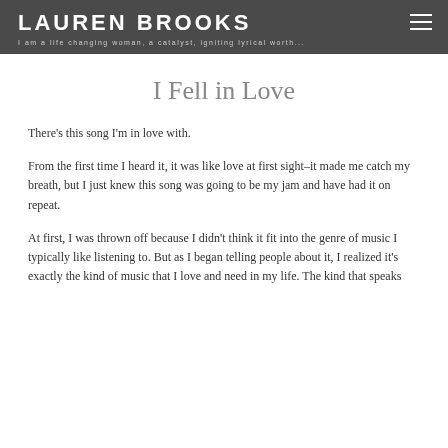LAUREN BROOKS
I am a life changing woman, a catalyst, igniting lyrical worth...
I Fell in Love
There's this song I'm in love with.
From the first time I heard it, it was like love at first sight–it made me catch my breath, but I just knew this song was going to be my jam and have had it on repeat.
At first, I was thrown off because I didn't think it fit into the genre of music I typically like listening to. But as I began telling people about it, I realized it's exactly the kind of music that I love and need in my life. The kind that speaks